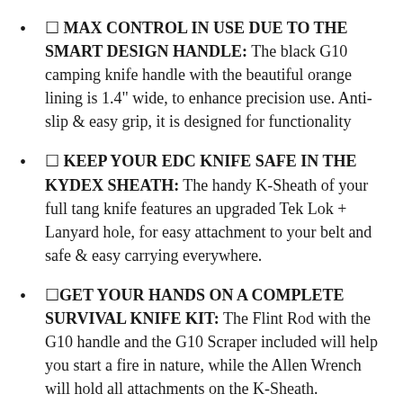🔲 MAX CONTROL IN USE DUE TO THE SMART DESIGN HANDLE: The black G10 camping knife handle with the beautiful orange lining is 1.4" wide, to enhance precision use. Anti-slip & easy grip, it is designed for functionality
🔲 KEEP YOUR EDC KNIFE SAFE IN THE KYDEX SHEATH: The handy K-Sheath of your full tang knife features an upgraded Tek Lok + Lanyard hole, for easy attachment to your belt and safe & easy carrying everywhere.
🔲GET YOUR HANDS ON A COMPLETE SURVIVAL KNIFE KIT: The Flint Rod with the G10 handle and the G10 Scraper included will help you start a fire in nature, while the Allen Wrench will hold all attachments on the K-Sheath.
🔲 THRILL A NATURE ENTHUSIAST WITH A GIFT TO REMEMBER: Spoil a loved camper, hunter,